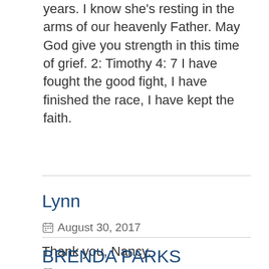years. I know she's resting in the arms of our heavenly Father. May God give you strength in this time of grief. 2: Timothy 4: 7 I have fought the good fight, I have finished the race, I have kept the faith.
Lynn
August 30, 2017
Thank you, Nancy.
BRENDA PARKS
August 31, 2017